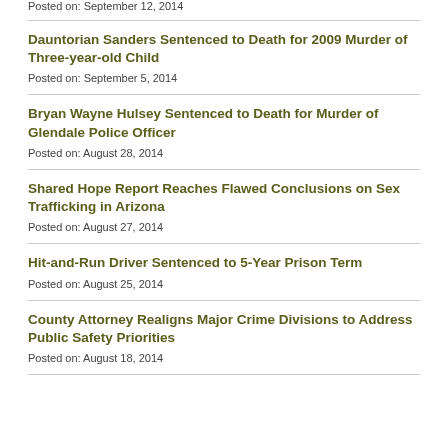Posted on: September 12, 2014
Dauntorian Sanders Sentenced to Death for 2009 Murder of Three-year-old Child
Posted on: September 5, 2014
Bryan Wayne Hulsey Sentenced to Death for Murder of Glendale Police Officer
Posted on: August 28, 2014
Shared Hope Report Reaches Flawed Conclusions on Sex Trafficking in Arizona
Posted on: August 27, 2014
Hit-and-Run Driver Sentenced to 5-Year Prison Term
Posted on: August 25, 2014
County Attorney Realigns Major Crime Divisions to Address Public Safety Priorities
Posted on: August 18, 2014